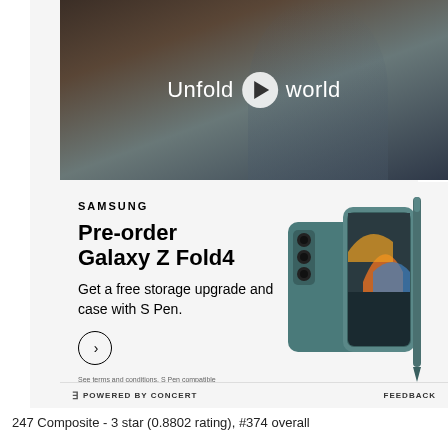[Figure (screenshot): Samsung Galaxy Z Fold4 pre-order advertisement with a video thumbnail at top showing a woman holding a phone with text 'Unfold your world' and a play button, and below an ad section with Samsung branding, pre-order title, promotional text about free storage upgrade and case with S Pen, a circular CTA arrow button, fine print, phone product image, and a footer bar with 'POWERED BY CONCERT' and 'FEEDBACK'.]
247 Composite - 3 star (0.8802 rating), #374 overall